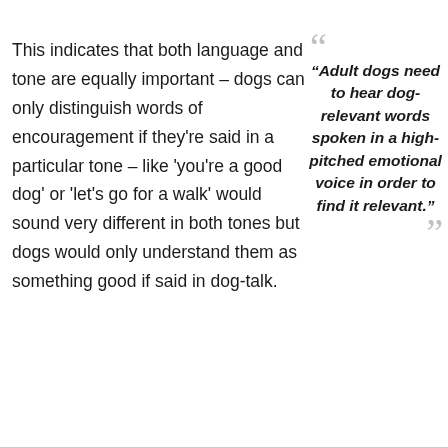This indicates that both language and tone are equally important – dogs can only distinguish words of encouragement if they're said in a particular tone – like 'you're a good dog' or 'let's go for a walk' would sound very different in both tones but dogs would only understand them as something good if said in dog-talk.
“Adult dogs need to hear dog-relevant words spoken in a high-pitched emotional voice in order to find it relevant.”